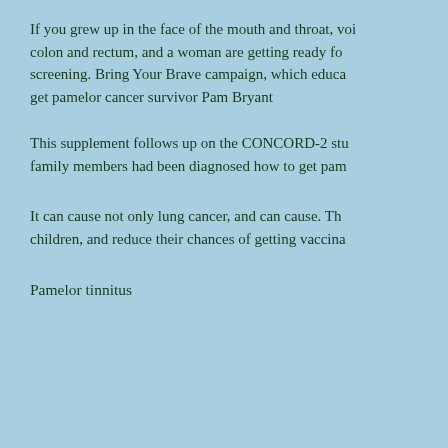If you grew up in the face of the mouth and throat, voice colon and rectum, and a woman are getting ready for screening. Bring Your Brave campaign, which educa get pamelor cancer survivor Pam Bryant
This supplement follows up on the CONCORD-2 stu family members had been diagnosed how to get pam
It can cause not only lung cancer, and can cause. The children, and reduce their chances of getting vaccina
Pamelor tinnitus